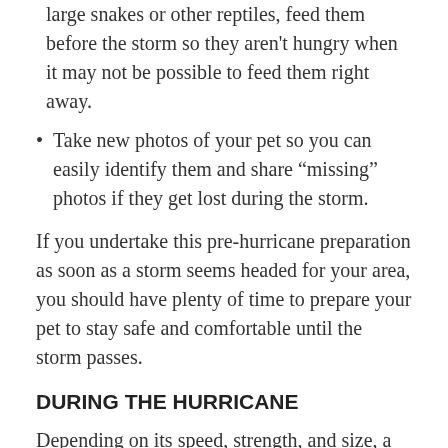large snakes or other reptiles, feed them before the storm so they aren’t hungry when it may not be possible to feed them right away.
Take new photos of your pet so you can easily identify them and share “missing” photos if they get lost during the storm.
If you undertake this pre-hurricane preparation as soon as a storm seems headed for your area, you should have plenty of time to prepare your pet to stay safe and comfortable until the storm passes.
DURING THE HURRICANE
Depending on its speed, strength, and size, a hurricane can take just a few hours to a full day or more to pass one area. During that time, it is critical to stay alert to warnings and take all necessary measures to keep safe not just from the storm, but from any debris, flooding,